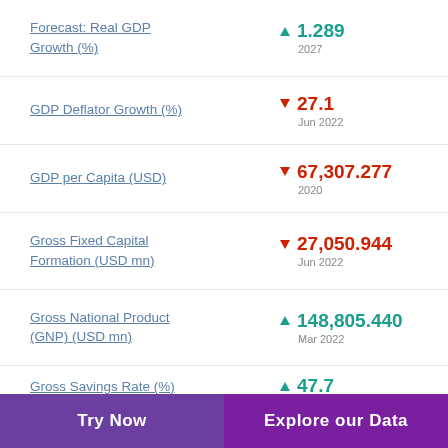Forecast: Real GDP Growth (%) ▲ 1.289 2027
GDP Deflator Growth (%) ▼ 27.1 Jun 2022
GDP per Capita (USD) ▼ 67,307.277 2020
Gross Fixed Capital Formation (USD mn) ▼ 27,050.944 Jun 2022
Gross National Product (GNP) (USD mn) ▲ 148,805.440 Mar 2022
Gross Savings Rate (%) ▲ 47.7
Try Now | Explore our Data